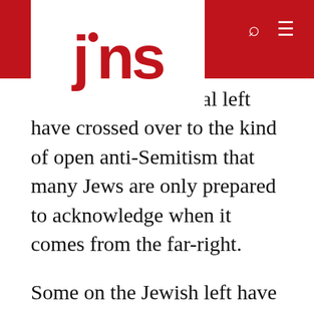[Figure (logo): JNS logo in red on white background with red header bar]
ents of the ideological left have crossed over to the kind of open anti-Semitism that many Jews are only prepared to acknowledge when it comes from the far-right.
Some on the Jewish left have urged Americans to understand BDS as a cry of protest against what they mischaracterize as oppressive Israeli policies and a way to pressure Israel to withdraw from the West Bank. They say that progressives who either support BDS—like the members of the left-wing congressional “Squad”—should not be treated as anti-Semites or beyond the pale of normal politics. But it should be noted